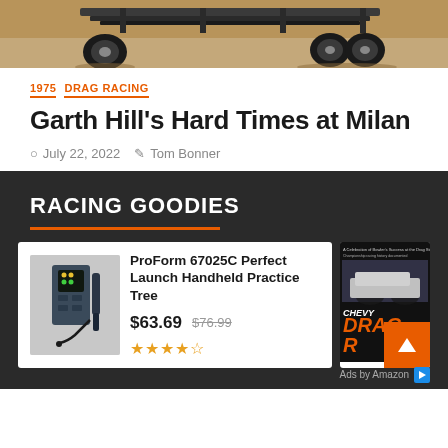[Figure (photo): Bottom portion of a vehicle chassis with wheels visible, sandy ground below, photo cropped showing undercarriage]
1975   DRAG RACING
Garth Hill's Hard Times at Milan
July 22, 2022   Tom Bonner
RACING GOODIES
[Figure (other): Product card: ProForm 67025C Perfect Launch Handheld Practice Tree device image]
ProForm 67025C Perfect Launch Handheld Practice Tree
$63.69  $76.99
[Figure (other): Book cover for Chevy Drag Racing book with orange scroll-to-top button overlay]